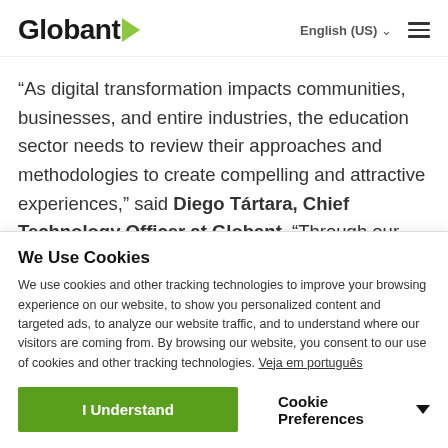Globant | English (US)
“As digital transformation impacts communities, businesses, and entire industries, the education sector needs to review their approaches and methodologies to create compelling and attractive experiences,” said Diego Tártara, Chief Technology Officer at Globant. “Through our new
We Use Cookies
We use cookies and other tracking technologies to improve your browsing experience on our website, to show you personalized content and targeted ads, to analyze our website traffic, and to understand where our visitors are coming from. By browsing our website, you consent to our use of cookies and other tracking technologies. Veja em português
I Understand | Cookie Preferences